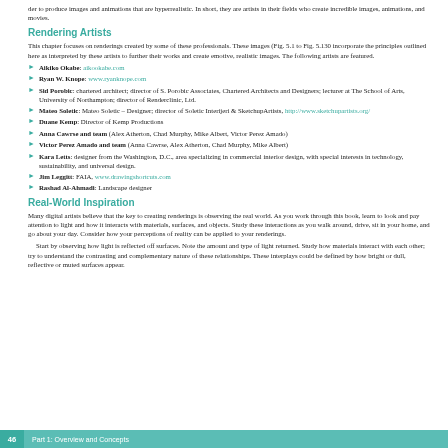der to produce images and animations that are hyperrealistic. In short, they are artists in their fields who create incredible images, animations, and movies.
Rendering Artists
This chapter focuses on renderings created by some of these professionals. These images (Fig. 5.1 to Fig. 5.130 incorporate the principles outlined here as interpreted by these artists to further their works and create emotive, realistic images. The following artists are featured.
Aikiko Okabe: aikookabe.com
Ryan W. Knope: www.ryanknope.com
Sid Porobic: chartered architect; director of S. Porobic Associates, Chartered Architects and Designers; lecturer at The School of Arts, University of Northampton; director of Renderclinic, Ltd.
Mateo Soletic: Mateo Soletic – Designer; director of Soletic Interijeri & SketchupArtists, http://www.sketchupartists.org/
Duane Kemp: Director of Kemp Productions
Anna Cawrse and team (Alex Atherton, Chad Murphy, Mike Albert, Victor Perez Amado)
Victor Perez Amado and team (Anna Cawrse, Alex Atherton, Chad Murphy, Mike Albert)
Kara Letts: designer from the Washington, D.C., area specializing in commercial interior design, with special interests in technology, sustainability, and universal design.
Jim Leggitt: FAIA, www.drawingshortcuts.com
Rashad Al-Ahmadi: Landscape designer
Real-World Inspiration
Many digital artists believe that the key to creating renderings is observing the real world. As you work through this book, learn to look and pay attention to light and how it interacts with materials, surfaces, and objects. Study these interactions as you walk around, drive, sit in your home, and go about your day. Consider how your perceptions of reality can be applied to your renderings.
Start by observing how light is reflected off surfaces. Note the amount and type of light returned. Study how materials interact with each other; try to understand the contrasting and complementary nature of these relationships. These interplays could be defined by how bright or dull, reflective or muted surfaces appear.
46    Part 1: Overview and Concepts